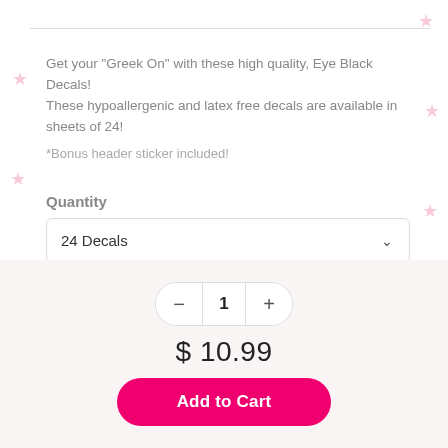Get your "Greek On" with these high quality, Eye Black Decals!
These hypoallergenic and latex free decals are available in sheets of 24!

*Bonus header sticker included!
Quantity
24 Decals
1
$ 10.99
Add to Cart